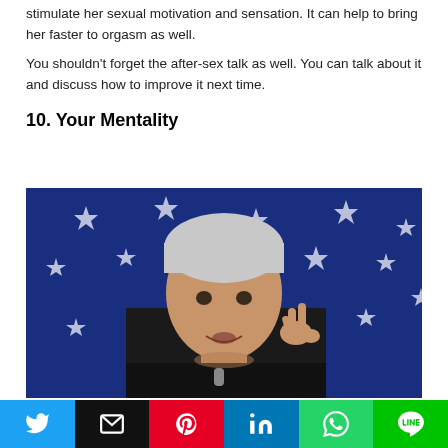stimulate her sexual motivation and sensation. It can help to bring her faster to orgasm as well.
You shouldn't forget the after-sex talk as well. You can talk about it and discuss how to improve it next time.
10. Your Mentality
[Figure (photo): Man with white/grey hair speaking and gesturing in front of an American flag background with stars]
Social share buttons: Twitter, Email, Pinterest, LinkedIn, WhatsApp, LINE